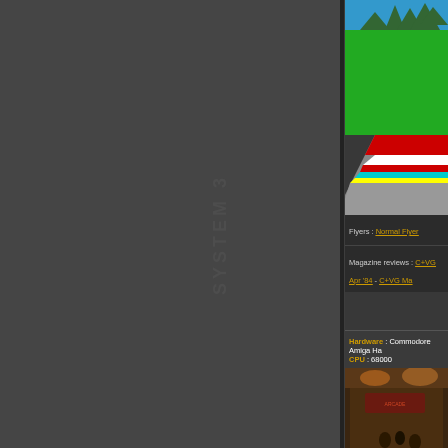[Figure (screenshot): Retro racing video game screenshot showing a green track with mountains in the background, and red/white/cyan/yellow striped roadway]
Flyers : Normal Flyer - Other Flyer
Magazine reviews : C+VG Apr '84 - C+VG Ma...
Hardware : Commodore Amiga Ha... CPU : 68000
[Figure (photo): Indoor photo of what appears to be an arcade or gaming venue with warm lighting, people visible in background]